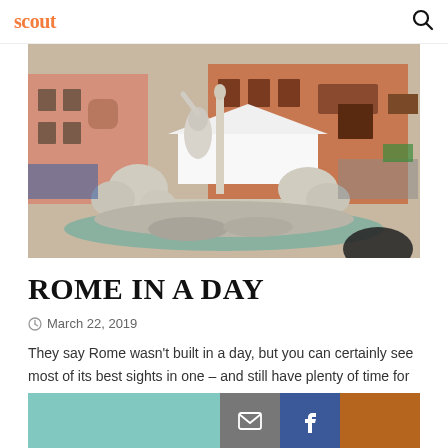scout (logo) | search icon
[Figure (photo): Fountain of the Four Rivers (Fontana dei Quattro Fiumi) at Piazza Navona in Rome, with marble statues, tourists, and colorful buildings in the background.]
ROME IN A DAY
March 22, 2019
They say Rome wasn't built in a day, but you can certainly see most of its best sights in one – and still have plenty of time for a pizza and Aperol spritz break (or two). Don't get us wrong...
[Figure (photo): Partial bottom strip showing a teal/turquoise building facade on the left, social share buttons (email and Facebook) in the center, and a brown/terracotta building on the right.]